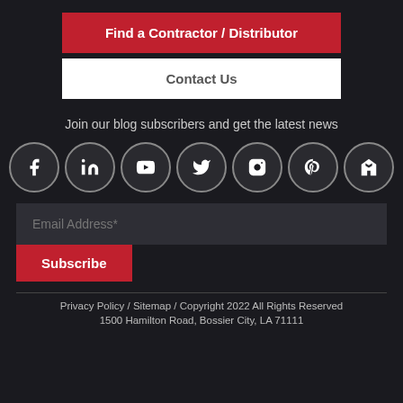Find a Contractor / Distributor
Contact Us
Join our blog subscribers and get the latest news
[Figure (infographic): Row of 7 social media icons: Facebook, LinkedIn, YouTube, Twitter, Instagram, Pinterest, Houzz]
Email Address*
Subscribe
Privacy Policy / Sitemap / Copyright 2022 All Rights Reserved
1500 Hamilton Road, Bossier City, LA 71111